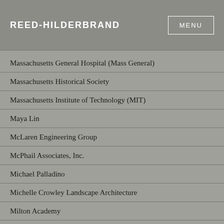REED-HILDERBRAND  MENU
Massachusetts General Hospital (Mass General)
Massachusetts Historical Society
Massachusetts Institute of Technology (MIT)
Maya Lin
McLaren Engineering Group
McPhail Associates, Inc.
Michael Palladino
Michelle Crowley Landscape Architecture
Milton Academy
Mitchell/Giurgola Architects
MITIMCO
MJ Sagan
Mohr and Seredin